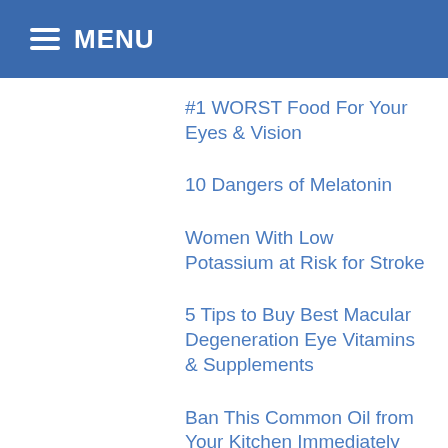MENU
#1 WORST Food For Your Eyes & Vision
10 Dangers of Melatonin
Women With Low Potassium at Risk for Stroke
5 Tips to Buy Best Macular Degeneration Eye Vitamins & Supplements
Ban This Common Oil from Your Kitchen Immediately
This Is Why You Should Be Taking Vitamin D